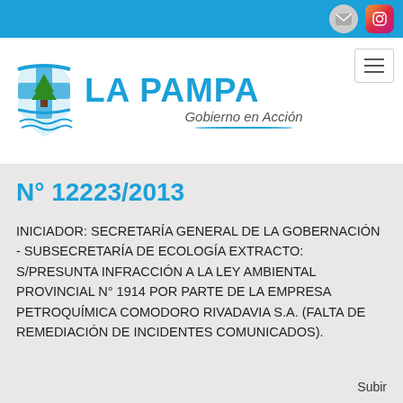[Figure (logo): La Pampa Gobierno en Acción government website header with logo and blue top bar with email and Instagram icons]
N° 12223/2013
INICIADOR: SECRETARÍA GENERAL DE LA GOBERNACIÓN - SUBSECRETARÍA DE ECOLOGÍA EXTRACTO: S/PRESUNTA INFRACCIÓN A LA LEY AMBIENTAL PROVINCIAL N° 1914 POR PARTE DE LA EMPRESA PETROQUÍMICA COMODORO RIVADAVIA S.A. (FALTA DE REMEDIACIÓN DE INCIDENTES COMUNICADOS).
Subir